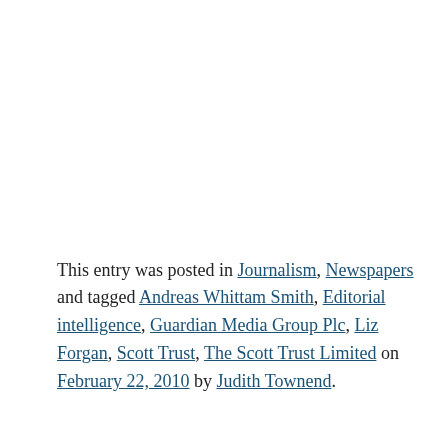This entry was posted in Journalism, Newspapers and tagged Andreas Whittam Smith, Editorial intelligence, Guardian Media Group Plc, Liz Forgan, Scott Trust, The Scott Trust Limited on February 22, 2010 by Judith Townend.